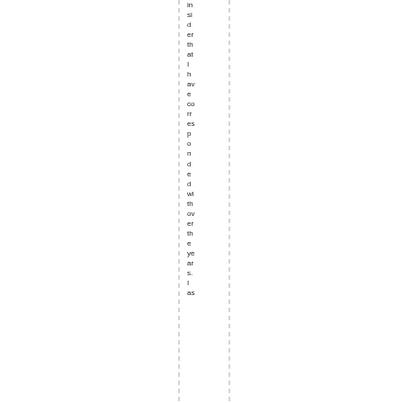insider that I have corresponded with over the years. I as